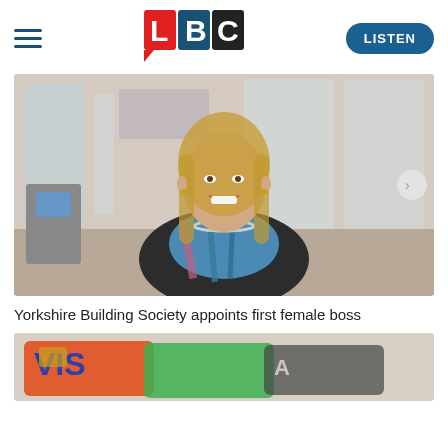LBC — LISTEN
[Figure (photo): LBC logo with red L, blue B, black C tiles]
[Figure (photo): A smiling blonde woman in a dark blazer and striped scarf standing in what appears to be a building society branch interior]
Yorkshire Building Society appoints first female boss
[Figure (photo): Close-up of Visa credit/debit cards fanned out on a surface]